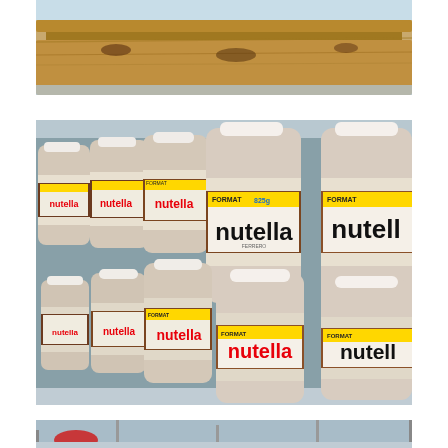[Figure (photo): Partial view of a croissant or pastry on a light blue surface, cropped at the top of the page]
[Figure (photo): Multiple large jars of Nutella hazelnut spread arranged on a store shelf, showing white labels with the red and black Nutella logo and yellow FORMAT banner]
[Figure (photo): Partial view at the bottom of the page showing a shopping cart or store shelf environment]